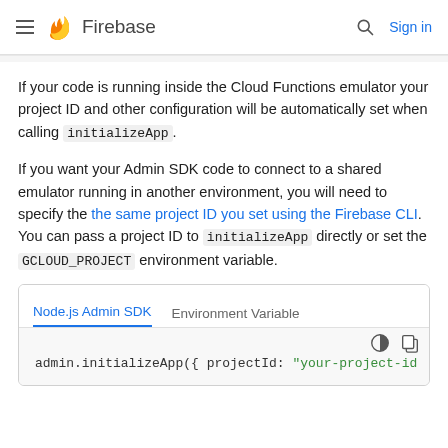Firebase
If your code is running inside the Cloud Functions emulator your project ID and other configuration will be automatically set when calling initializeApp.
If you want your Admin SDK code to connect to a shared emulator running in another environment, you will need to specify the the same project ID you set using the Firebase CLI. You can pass a project ID to initializeApp directly or set the GCLOUD_PROJECT environment variable.
[Figure (screenshot): Code tab box with Node.js Admin SDK and Environment Variable tabs, showing code: admin.initializeApp({ projectId: "your-project-id]